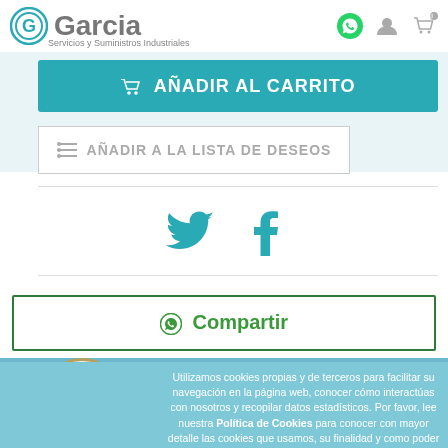[Figure (logo): Garcia Servicios y Suministros Industriales logo with circular G icon]
[Figure (infographic): WhatsApp icon, user account icon, and shopping cart icon in header]
🛒 AÑADIR AL CARRITO
≡ AÑADIR A LA LISTA DE DESEOS
[Figure (illustration): Twitter bird icon and Facebook f icon in teal color]
© Compartir
Utilizamos cookies propias y de terceros para facilitar su navegación en la página web, conocer cómo interactúas con nosotros y recopilar datos estadísticos. Por favor, lee nuestra Política de Cookies para conocer con mayor detalle las cookies que usamos, su finalidad y como poder configurarlas o rechazarlas, si así lo considera.
[Figure (logo): Trusted Shops eCertified badge with 4.72 star rating]